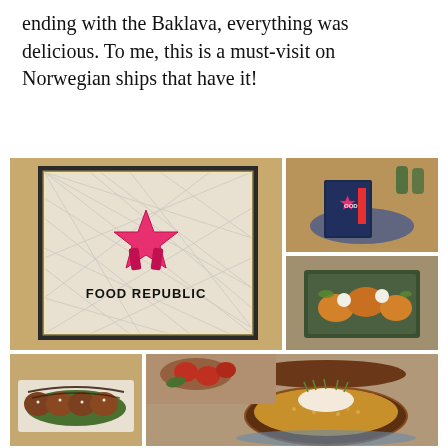ending with the Baklava, everything was delicious. To me, this is a must-visit on Norwegian ships that have it!
[Figure (photo): Collage of 5 food photos from Food Republic restaurant on a Norwegian cruise ship. Top-left: Food Republic sign with illuminated star logo and geometric pattern wall. Top-right top: Menu/tablet on a plate with 'FOOD REPUBLIC' branding. Top-right bottom: Small appetizer dishes on a dark green square plate. Bottom-left: Skewered or rolled food items on a rectangular plate with dark sauce drizzle on banana leaf. Bottom-right: Large bowl of fried rice garnished with cream and green herbs/chives.]